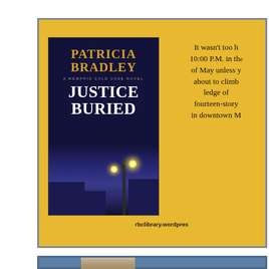[Figure (illustration): Book cover of 'Justice Buried' by Patricia Bradley, a Memphis Cold Case Novel, showing the author name in gold, title in white on dark blue background with street lamp scene]
It wasn't too h... 10:00 P.M. in the... of May unless y... about to climb... ledge of... fourteen-story... in downtown M...
rbclibrary.wordpres...
[Figure (photo): Partial photo of a person visible at the bottom of the page in a blue panel]